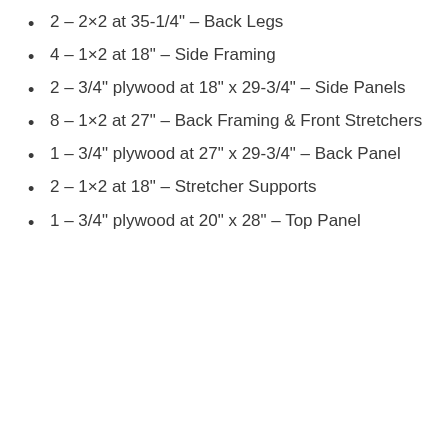2 – 2×2 at 35-1/4" – Back Legs
4 – 1×2 at 18" – Side Framing
2 – 3/4" plywood at 18" x 29-3/4" – Side Panels
8 – 1×2 at 27" – Back Framing & Front Stretchers
1 – 3/4" plywood at 27" x 29-3/4" – Back Panel
2 – 1×2 at 18" – Stretcher Supports
1 – 3/4" plywood at 20" x 28" – Top Panel